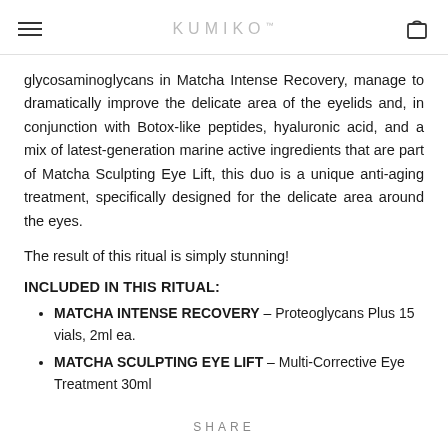KUMIKO
glycosaminoglycans in Matcha Intense Recovery, manage to dramatically improve the delicate area of the eyelids and, in conjunction with Botox-like peptides, hyaluronic acid, and a mix of latest-generation marine active ingredients that are part of Matcha Sculpting Eye Lift, this duo is a unique anti-aging treatment, specifically designed for the delicate area around the eyes.
The result of this ritual is simply stunning!
INCLUDED IN THIS RITUAL:
MATCHA INTENSE RECOVERY – Proteoglycans Plus 15 vials, 2ml ea.
MATCHA SCULPTING EYE LIFT – Multi-Corrective Eye Treatment 30ml
SHARE